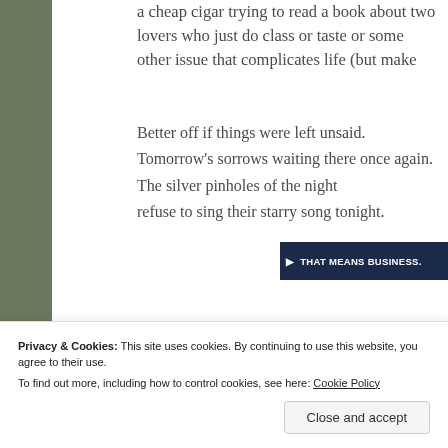a cheap cigar trying to read a book about two lovers who just do class or taste or some other issue that complicates life (but make
Better off if things were left unsaid.
Tomorrow’s sorrows waiting there once again.
The silver pinholes of the night
refuse to sing their starry song tonight.
Link: PlankEye
[Figure (screenshot): Advertisement banner with dark navy background and white bold text reading 'THAT MEANS BUSINESS.']
Privacy & Cookies: This site uses cookies. By continuing to use this website, you agree to their use.
To find out more, including how to control cookies, see here: Cookie Policy
Close and accept